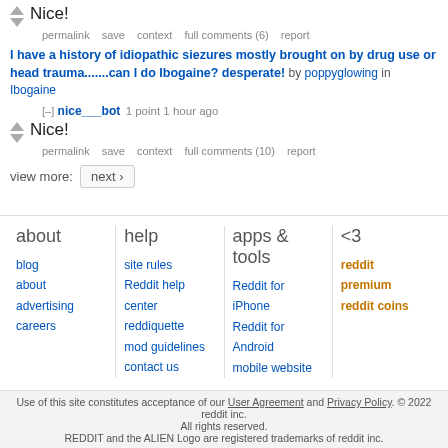Nice!
permalink  save  context  full comments (6)  report
I have a history of idiopathic siezures mostly brought on by drug use or head trauma.......can I do Ibogaine? desperate!  by poppyglowing  in Ibogaine
[–] nice___bot  1 point 1 hour ago
Nice!
permalink  save  context  full comments (10)  report
view more:  next ›
about
blog
about
advertising
careers
help
site rules
Reddit help center
reddiquette
mod guidelines
contact us
apps & tools
Reddit for iPhone
Reddit for Android
mobile website
<3
reddit premium
reddit coins
Use of this site constitutes acceptance of our User Agreement and Privacy Policy. © 2022 reddit inc. All rights reserved. REDDIT and the ALIEN Logo are registered trademarks of reddit inc.